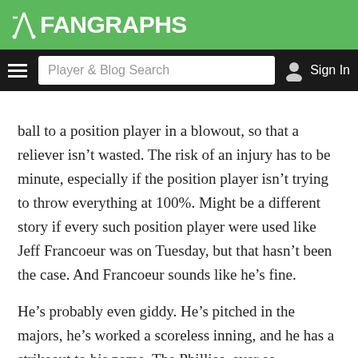FanGraphs
Player & Blog Search  Sign In
ball to a position player in a blowout, so that a reliever isn't wasted. The risk of an injury has to be minute, especially if the position player isn't trying to throw everything at 100%. Might be a different story if every such position player were used like Jeff Francoeur was on Tuesday, but that hasn't been the case. And Francoeur sounds like he's fine.
He's probably even giddy. He's pitched in the majors, he's worked a scoreless inning, and he has a strikeout to his name. The Phillies, ever so fleetingly, did manage to achieve something fun. They just had to be losing by 14 runs.